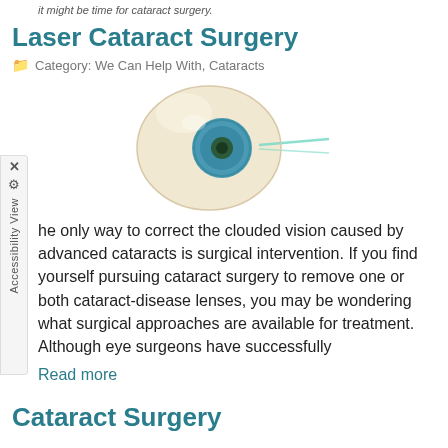it might be time for cataract surgery.
Laser Cataract Surgery
Category: We Can Help With, Cataracts
[Figure (illustration): 3D illustration of a human eyeball with a blue iris and a green laser beam pointing at it from the right side]
he only way to correct the clouded vision caused by advanced cataracts is surgical intervention. If you find yourself pursuing cataract surgery to remove one or both cataract-disease lenses, you may be wondering what surgical approaches are available for treatment. Although eye surgeons have successfully
Read more
Cataract Surgery